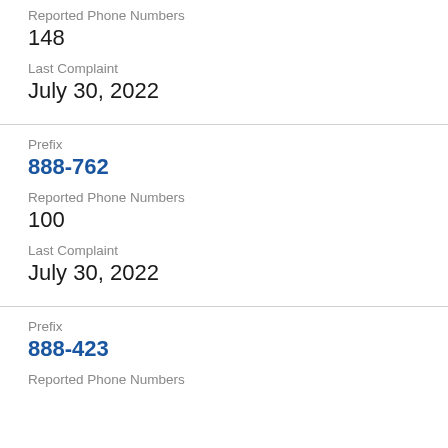Reported Phone Numbers
148
Last Complaint
July 30, 2022
Prefix
888-762
Reported Phone Numbers
100
Last Complaint
July 30, 2022
Prefix
888-423
Reported Phone Numbers